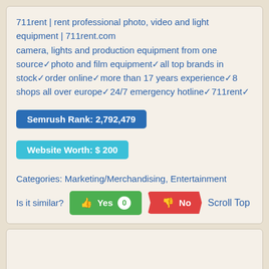711rent | rent professional photo, video and light equipment | 711rent.com
camera, lights and production equipment from one source✓photo and film equipment✓all top brands in stock✓order online✓more than 17 years experience✓8 shops all over europe✓24/7 emergency hotline✓711rent✓
Semrush Rank: 2,792,479
Website Worth: $ 200
Categories: Marketing/Merchandising, Entertainment
Is it similar? Yes 0 No Scroll Top
[Figure (logo): sitelike.org logo text in dark navy bold font]